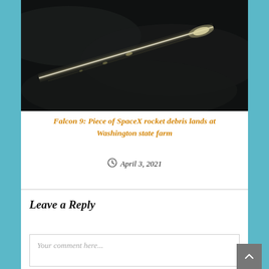[Figure (photo): Dark night sky photograph showing a streak of light (SpaceX Falcon 9 rocket debris) travelling diagonally across the frame with a glowing trail.]
Falcon 9: Piece of SpaceX rocket debris lands at Washington state farm
April 3, 2021
Leave a Reply
Your comment here...